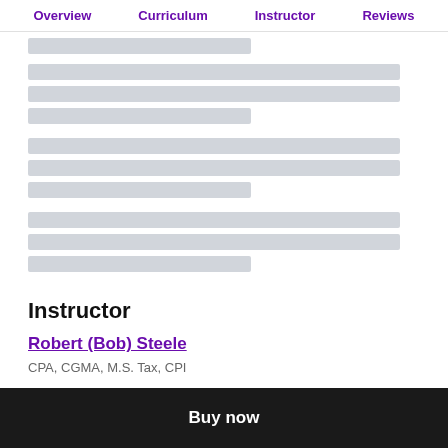Overview  Curriculum  Instructor  Reviews
[Figure (other): Skeleton loading placeholder blocks representing course content text lines]
Instructor
Robert (Bob) Steele
CPA, CGMA, M.S. Tax, CPI
Buy now